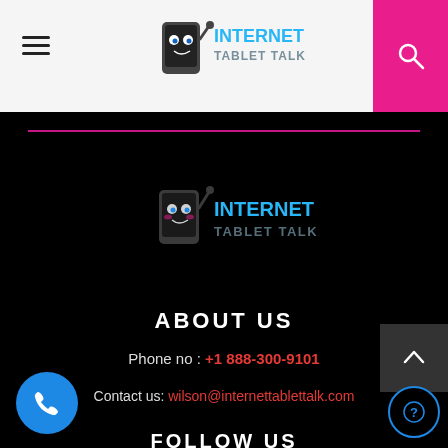[Figure (logo): Internet Tablet Talk logo in header — cartoon tablet mascot with blue INTERNET text and grey TABLET TALK text]
[Figure (logo): Internet Tablet Talk logo in black area — same cartoon tablet mascot, darker/muted version]
ABOUT US
Phone no : +1 888-300-9101
Contact us: wilson@internettablettalk.com
FOLLOW US